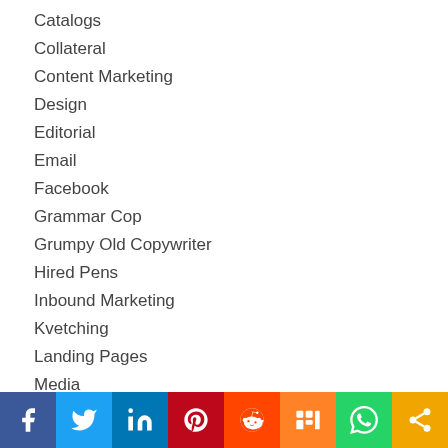Catalogs
Collateral
Content Marketing
Design
Editorial
Email
Facebook
Grammar Cop
Grumpy Old Copywriter
Hired Pens
Inbound Marketing
Kvetching
Landing Pages
Media
Networking
News
Other
[Figure (infographic): Social sharing bar with icons for Facebook, Twitter, LinkedIn, Pinterest, Reddit, Mix, WhatsApp, and Share]